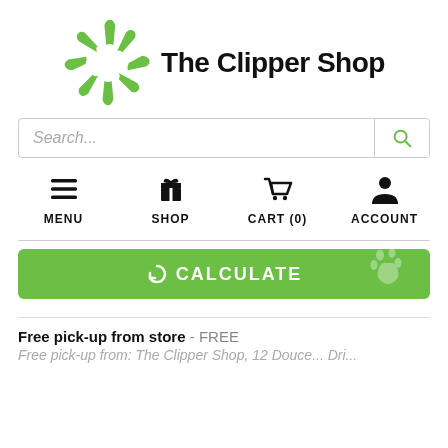[Figure (logo): The Clipper Shop logo with green pinwheel/spinner graphic and bold text 'The Clipper Shop']
Search...
[Figure (infographic): Navigation icons row: hamburger menu (MENU), gift box (SHOP), shopping cart (CART (0)), person silhouette (ACCOUNT)]
[Figure (other): Green CALCULATE button with refresh/recycle icon and paw print watermark overlay]
Free pick-up from store - FREE
Free pick-up from: The Clipper Shop, 12 Douce... Dri...